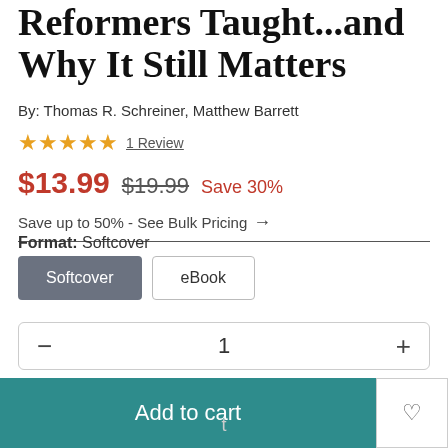Reformers Taught...and Why It Still Matters
By: Thomas R. Schreiner, Matthew Barrett
★★★★★ 1 Review
$13.99  $19.99  Save 30%
Save up to 50% - See Bulk Pricing →
Format: Softcover
Softcover  eBook
− 1 +
Add to cart